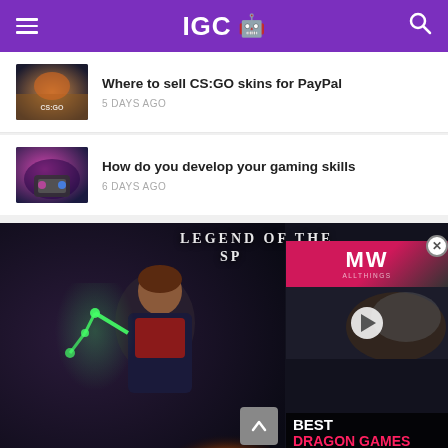IGC
Where to sell CS:GO skins for PayPal
5 DAYS AGO
How do you develop your gaming skills
6 DAYS AGO
[Figure (screenshot): Gaming website screenshot showing IGC logo header in purple, two article listings with thumbnails, and a video ad overlay showing 'Legend of the Sp...' game with MW logo and 'BEST DRAGON GAMES' label]